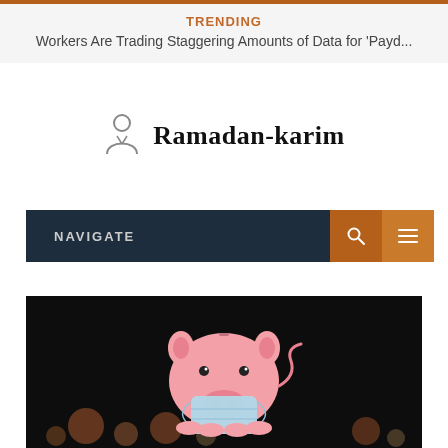TRENDING
Workers Are Trading Staggering Amounts of Data for 'Payd...
Ramadan-karim
NAVIGATE
[Figure (photo): A pink piggy bank wearing a medical face mask, photographed against a dark background with blurred bokeh lights]